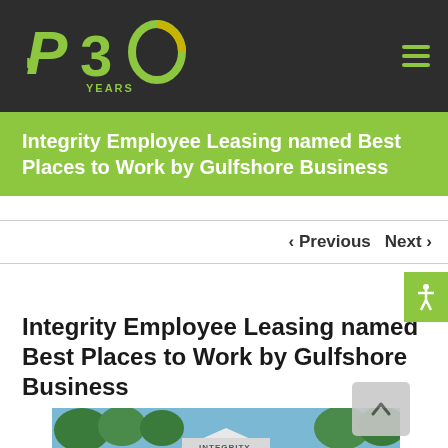[Figure (logo): P30 Years logo — green letter P with 30 YEARS text in green on dark background]
≡ (hamburger menu icon)
Integrity Employee Leasing named Best Places to Work by Gulfshore Business
< Previous   Next >
Integrity Employee Leasing named Best Places to Work by Gulfshore Business
[Figure (photo): Partial view of the Integrity Employee Leasing building exterior with trees and blue sky]